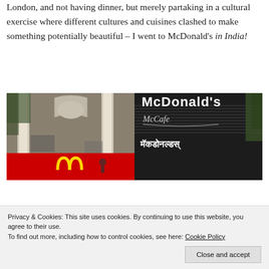London, and not having dinner, but merely partaking in a cultural exercise where different cultures and cuisines clashed to make something potentially beautiful – I went to McDonald's in India!
[Figure (photo): A McDonald's restaurant in India showing a classical European-style building on the left with golden arches visible, and a large dark sign on the right displaying 'McDonald's McCafe' in English and Hindi script (मॅकडोनल्डस्)]
Privacy & Cookies: This site uses cookies. By continuing to use this website, you agree to their use.
To find out more, including how to control cookies, see here: Cookie Policy
Close and accept